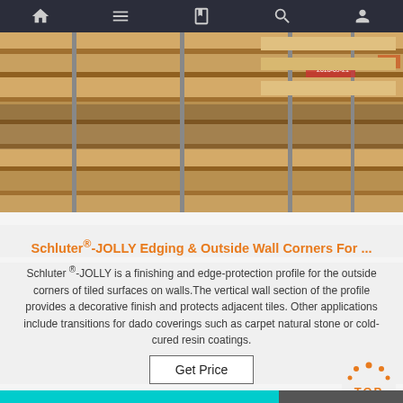Navigation bar with home, menu, catalog, search, account icons
[Figure (photo): Photo of stacked wooden pallets/crates with metal straps, warehouse setting]
Schluter®-JOLLY Edging & Outside Wall Corners For ...
Schluter ®-JOLLY is a finishing and edge-protection profile for the outside corners of tiled surfaces on walls.The vertical wall section of the profile provides a decorative finish and protects adjacent tiles. Other applications include transitions for dado coverings such as carpet natural stone or cold-cured resin coatings.
Get Price
[Figure (photo): Bottom image showing cyan/teal surface and a hand, partially visible]